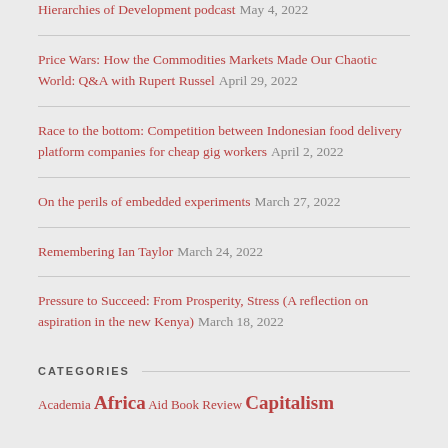Hierarchies of Development podcast May 4, 2022
Price Wars: How the Commodities Markets Made Our Chaotic World: Q&A with Rupert Russel April 29, 2022
Race to the bottom: Competition between Indonesian food delivery platform companies for cheap gig workers April 2, 2022
On the perils of embedded experiments March 27, 2022
Remembering Ian Taylor March 24, 2022
Pressure to Succeed: From Prosperity, Stress (A reflection on aspiration in the new Kenya) March 18, 2022
CATEGORIES
Academia Africa Aid Book Review Capitalism